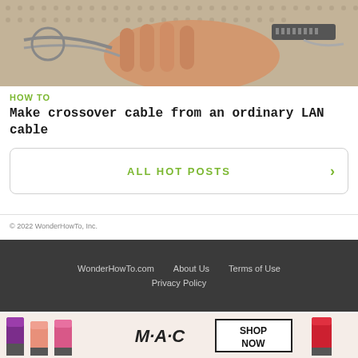[Figure (photo): A hand holding and working with network cables/wires, with a grey woven mat background]
HOW TO
Make crossover cable from an ordinary LAN cable
ALL HOT POSTS >
© 2022 WonderHowTo, Inc.
WonderHowTo.com  About Us  Terms of Use  Privacy Policy
[Figure (photo): MAC cosmetics advertisement showing lipsticks in purple, pink, and red colors with text SHOP NOW]